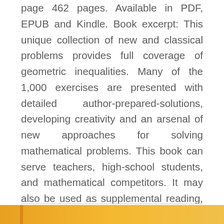page 462 pages. Available in PDF, EPUB and Kindle. Book excerpt: This unique collection of new and classical problems provides full coverage of geometric inequalities. Many of the 1,000 exercises are presented with detailed author-prepared-solutions, developing creativity and an arsenal of new approaches for solving mathematical problems. This book can serve teachers, high-school students, and mathematical competitors. It may also be used as supplemental reading, providing readers with new and classical methods for proving geometric inequalities.
[Figure (other): Orange/amber gradient banner bar at the bottom of the page with a darker vertical stripe near the left edge]